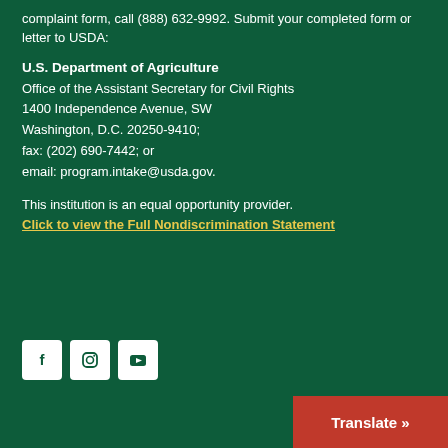complaint form, call (888) 632-9992. Submit your completed form or letter to USDA:
U.S. Department of Agriculture
Office of the Assistant Secretary for Civil Rights
1400 Independence Avenue, SW
Washington, D.C. 20250-9410;
fax: (202) 690-7442; or
email: program.intake@usda.gov.
This institution is an equal opportunity provider.
Click to view the Full Nondiscrimination Statement
[Figure (other): Social media icons: Facebook, Instagram, YouTube]
Translate »